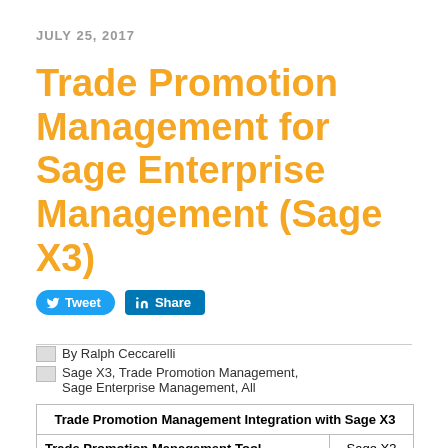JULY 25, 2017
Trade Promotion Management for Sage Enterprise Management (Sage X3)
Tweet   Share
By Ralph Ceccarelli
Sage X3, Trade Promotion Management, Sage Enterprise Management, All
| Trade Promotion Management Integration with Sage X3 |
| --- |
| Trade Promotion Management Tool | Sage X3 |